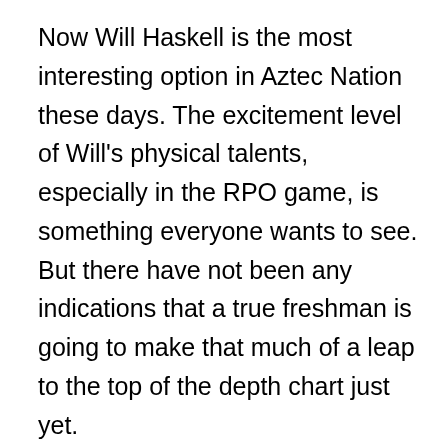Now Will Haskell is the most interesting option in Aztec Nation these days. The excitement level of Will's physical talents, especially in the RPO game, is something everyone wants to see. But there have not been any indications that a true freshman is going to make that much of a leap to the top of the depth chart just yet.
But why not? There is so much emerging talent and athleticism just waiting to be developed through those crucial reps needed to lead this program to the future.